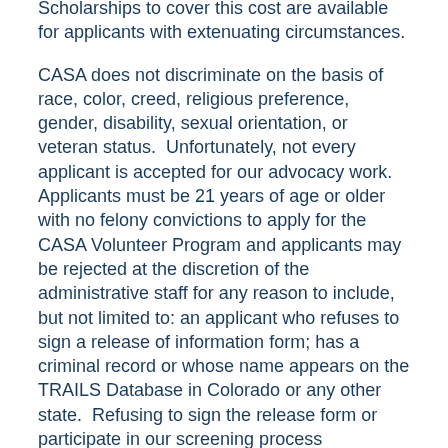Scholarships to cover this cost are available for applicants with extenuating circumstances.
CASA does not discriminate on the basis of race, color, creed, religious preference, gender, disability, sexual orientation, or veteran status.  Unfortunately, not every applicant is accepted for our advocacy work.  Applicants must be 21 years of age or older with no felony convictions to apply for the CASA Volunteer Program and applicants may be rejected at the discretion of the administrative staff for any reason to include, but not limited to: an applicant who refuses to sign a release of information form; has a criminal record or whose name appears on the TRAILS Database in Colorado or any other state.  Refusing to sign the release form or participate in our screening process automatically disqualifies you as an applicant.  CASA reserves the right to deny a volunteer position to any applicant without explanation.